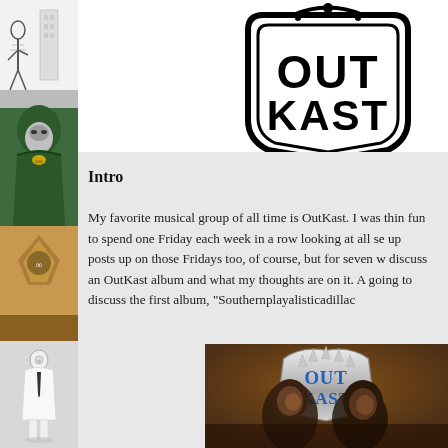[Figure (illustration): Left sidebar with four stacked comic/illustration panels: black-and-white urban scene, Dr. Doom green hooded figure, abstract geometric shapes, and a white-suited figure]
[Figure (logo): OutKast logo in black and white at top of page]
Intro
My favorite musical group of all time is OutKast. I was thin fun to spend one Friday each week in a row looking at all se up posts up on those Fridays too, of course, but for seven w discuss an OutKast album and what my thoughts are on it. A going to discuss the first album, "Southernplayalisticadillac
[Figure (photo): OutKast album cover for Southernplayalisticadillacmuzik showing the two members with chrome/silver OutKast crown logo]